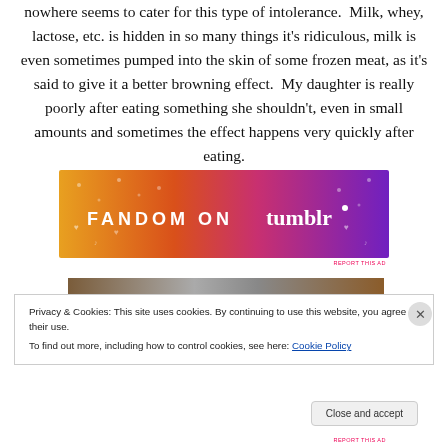nowhere seems to cater for this type of intolerance.  Milk, whey, lactose, etc. is hidden in so many things it's ridiculous, milk is even sometimes pumped into the skin of some frozen meat, as it's said to give it a better browning effect.  My daughter is really poorly after eating something she shouldn't, even in small amounts and sometimes the effect happens very quickly after eating.
[Figure (other): Fandom on Tumblr advertisement banner with orange-to-purple gradient background and decorative music/fandom icons]
[Figure (photo): Partial photo strip visible behind cookie consent bar, showing a brown/grey outdoor scene]
Privacy & Cookies: This site uses cookies. By continuing to use this website, you agree to their use.
To find out more, including how to control cookies, see here: Cookie Policy
Close and accept